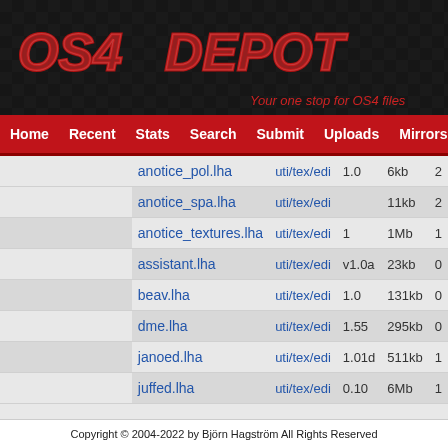[Figure (logo): OS4 Depot logo with red stylized text on black background with checkered pattern. Tagline: Your one stop for OS4 files]
Home | Recent | Stats | Search | Submit | Uploads | Mirrors | C...
| Filename | Category | Version | Size | ? |
| --- | --- | --- | --- | --- |
| anotice_pol.lha | uti/tex/edi | 1.0 | 6kb | 2 |
| anotice_spa.lha | uti/tex/edi |  | 11kb | 2 |
| anotice_textures.lha | uti/tex/edi | 1 | 1Mb | 1 |
| assistant.lha | uti/tex/edi | v1.0a | 23kb | 0 |
| beav.lha | uti/tex/edi | 1.0 | 131kb | 0 |
| dme.lha | uti/tex/edi | 1.55 | 295kb | 0 |
| janoed.lha | uti/tex/edi | 1.01d | 511kb | 1 |
| juffed.lha | uti/tex/edi | 0.10 | 6Mb | 1 |
Copyright © 2004-2022 by Björn Hagström All Rights Reserved